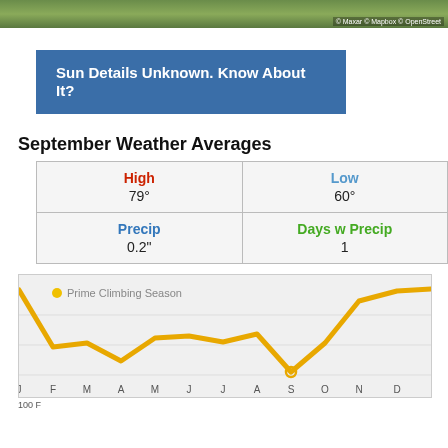[Figure (photo): Aerial/satellite map image with copyright notice: © Maxar © Mapbox © OpenStreet]
Sun Details Unknown. Know About It?
September Weather Averages
| High | Low | Precip | Days w Precip |
| --- | --- | --- | --- |
| 79° | 60° |
| 0.2" | 1 |
[Figure (line-chart): Line chart showing climbing season suitability across months. Golden/yellow line dips low in summer months (J,J,A) and rises high in winter (N,D,J). S month marked with small circle at minimum.]